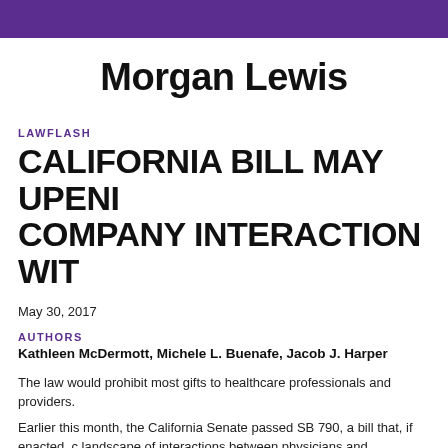Morgan Lewis
LAWFLASH
CALIFORNIA BILL MAY UPENI COMPANY INTERACTION WIT
May 30, 2017
AUTHORS
Kathleen McDermott, Michele L. Buenafe, Jacob J. Harper
The law would prohibit most gifts to healthcare professionals and providers.
Earlier this month, the California Senate passed SB 790, a bill that, if enacted, c landscape of interactions between physicians and pharmaceutical companies i